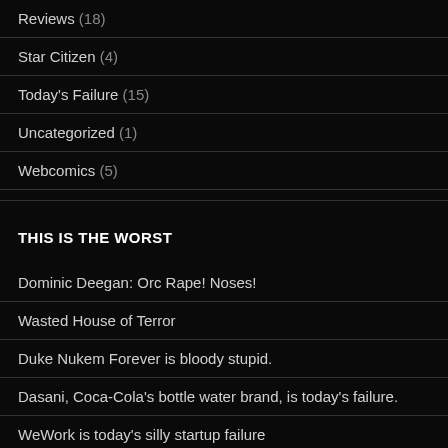Reviews (18)
Star Citizen (4)
Today's Failure (15)
Uncategorized (1)
Webcomics (5)
THIS IS THE WORST
Dominic Deegan: Orc Rape! Noses!
Wasted House of Terror
Duke Nukem Forever is bloody stupid.
Dasani, Coca-Cola's bottle water brand, is today's failure.
WeWork is today's silly startup failure